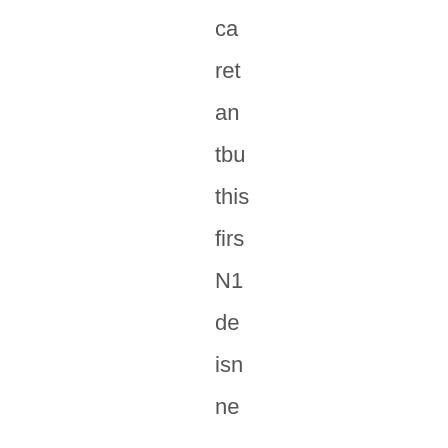ca
ret
an
tbu
this
firs
N1
de
isn
ne
to
be
an
ma
sal
su
rea